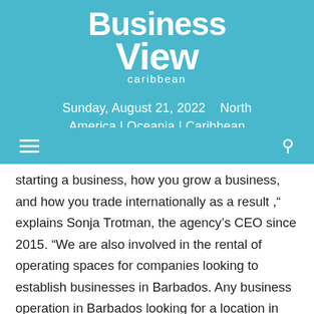Business View Caribbean
Sunday, August 21, 2022    North America | Oceania | Caribbean
starting a business, how you grow a business, and how you trade internationally as a result ," explains Sonja Trotman, the agency's CEO since 2015. "We are also involved in the rental of operating spaces for companies looking to establish businesses in Barbados. Any business operation in Barbados looking for a location in which to operate, BIDC will consider